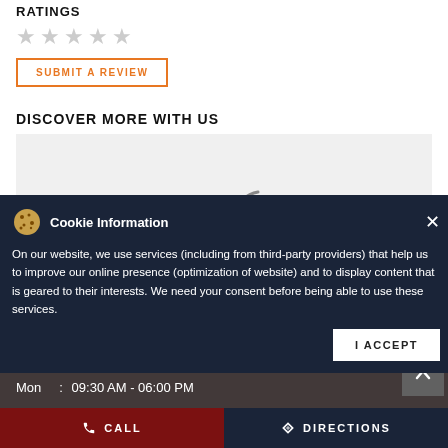RATINGS
[Figure (other): Five empty grey star rating icons]
SUBMIT A REVIEW
DISCOVER MORE WITH US
[Figure (map): Loading map area with grey background and partial loading spinner]
This branch is closed. Please check out the Nearby Branches below
BUSINESS HOURS
Mon  :  09:30 AM - 06:00 PM
[Figure (other): Cookie information popup overlay with cookie icon, close button, body text, and I ACCEPT button]
Cookie Information
On our website, we use services (including from third-party providers) that help us to improve our online presence (optimization of website) and to display content that is geared to their interests. We need your consent before being able to use these services.
I ACCEPT
CALL
DIRECTIONS